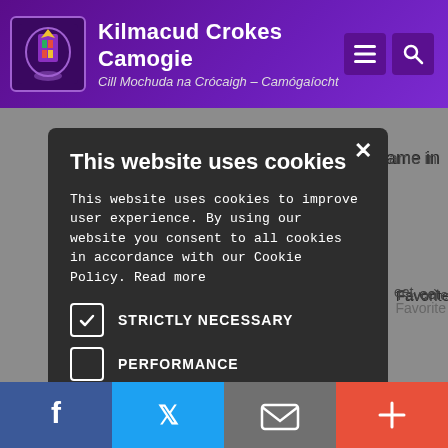Kilmacud Crokes Camogie — Cill Mochuda na Crócaigh – Camógaíocht
This website uses cookies
This website uses cookies to improve user experience. By using our website you consent to all cookies in accordance with our Cookie Policy. Read more
STRICTLY NECESSARY
PERFORMANCE
TARGETING
FUNCTIONALITY
UNCLASSIFIED
ACCEPT ALL   DECLINE ALL
Facebook  Twitter  Email  Plus